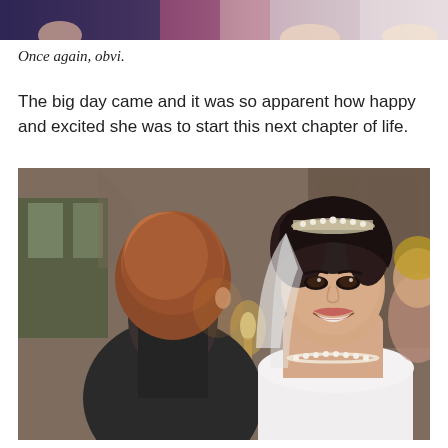[Figure (photo): Top portion of a group photo showing people in formal attire, cropped to show only the upper portion]
Once again, obvi.
The big day came and it was so apparent how happy and excited she was to start this next chapter of life.
[Figure (photo): Wedding ceremony photo showing a groom from behind with reddish hair in a dark suit, and a smiling bride wearing a white strapless dress, pearl necklace, veil and tiara, with candles and church arches visible in the background]